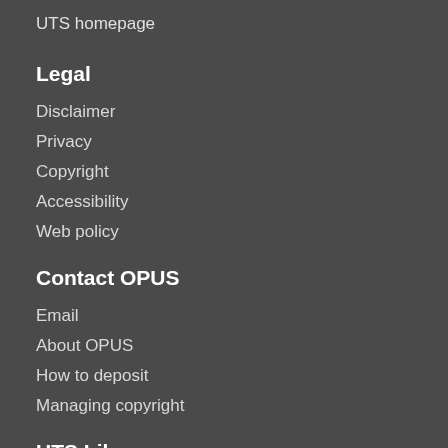UTS homepage
Legal
Disclaimer
Privacy
Copyright
Accessibility
Web policy
Contact OPUS
Email
About OPUS
How to deposit
Managing copyright
UTS Library
UTS Central (Bldg 2, Lvls 5-9)